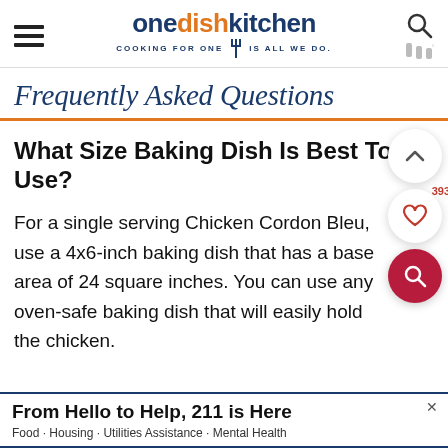one dish kitchen — COOKING FOR ONE | IS ALL WE DO.
Frequently Asked Questions
What Size Baking Dish Is Best To Use?
For a single serving Chicken Cordon Bleu, use a 4x6-inch baking dish that has a base area of 24 square inches. You can use any oven-safe baking dish that will easily hold the chicken.
[Figure (other): Advertisement banner: From Hello to Help, 211 is Here — Food · Housing · Utilities Assistance · Mental Health]